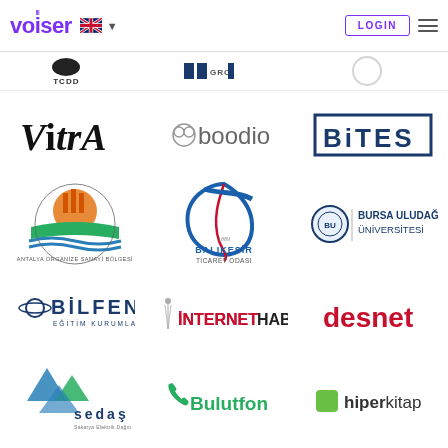Voiser LOGIN
[Figure (logo): TCDD logo - partial view at top]
[Figure (logo): Group logo - partial view at top]
[Figure (logo): Third logo - partial view at top]
[Figure (logo): VitrA brand logo in italic serif]
[Figure (logo): boodio logo with icon]
[Figure (logo): BITES logo in navy blue box]
[Figure (logo): Antalya Organize Sanayi Bolgesi logo]
[Figure (logo): Balikesir Ticaret Odasi logo]
[Figure (logo): Bursa Uludag Universitesi logo]
[Figure (logo): Bilfen Egitim Kurumlari logo]
[Figure (logo): InternetHaber logo]
[Figure (logo): desnet logo in red]
[Figure (logo): SEDAS logo with triangles]
[Figure (logo): Bulutfon logo in green]
[Figure (logo): hiperkitap logo]